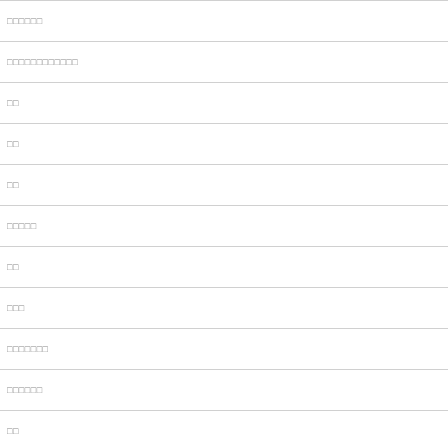□□□□□□
□□□□□□□□□□□□
□□
□□
□□
□□□□□
□□
□□□
□□□□□□□
□□□□□□
□□